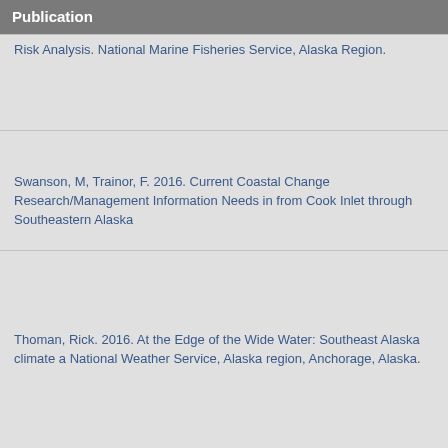Publication
Risk Analysis. National Marine Fisheries Service, Alaska Region.
Swanson, M, Trainor, F. 2016. Current Coastal Change Research/Management Information Needs in from Cook Inlet through Southeastern Alaska
Thoman, Rick. 2016. At the Edge of the Wide Water: Southeast Alaska climate a National Weather Service, Alaska region, Anchorage, Alaska.